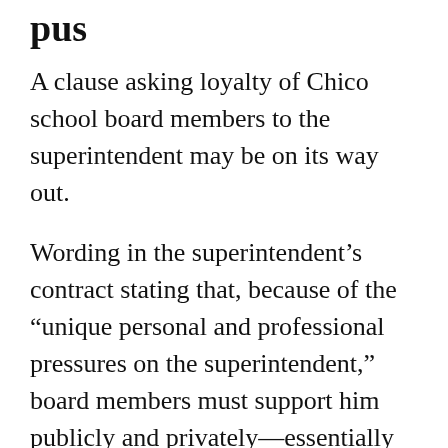pus
A clause asking loyalty of Chico school board members to the superintendent may be on its way out.
Wording in the superintendent’s contract stating that, because of the “unique personal and professional pressures on the superintendent,” board members must support him publicly and privately—essentially taking up any issues with his performance in closed session only—has been in place since the ‘80s.